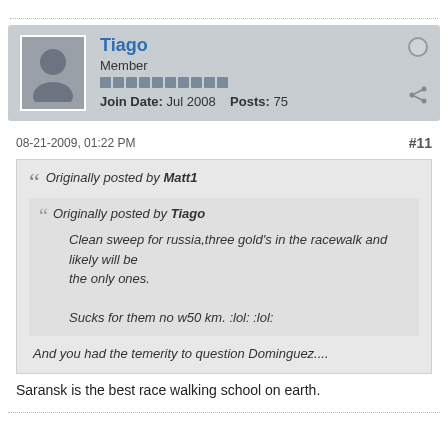Tiago
Member
Join Date: Jul 2008   Posts: 75
08-21-2009, 01:22 PM
#11
Originally posted by Matt1
Originally posted by Tiago
Clean sweep for russia,three gold's in the racewalk and likely will be
the only ones.

Sucks for them no w50 km. :lol: :lol:
And you had the temerity to question Dominguez....
Saransk is the best race walking school on earth.